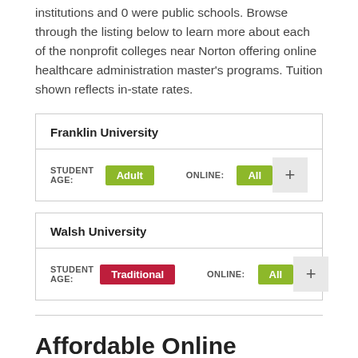institutions and 0 were public schools. Browse through the listing below to learn more about each of the nonprofit colleges near Norton offering online healthcare administration master's programs. Tuition shown reflects in-state rates.
| Franklin University | STUDENT AGE | ONLINE | Action |
| --- | --- | --- | --- |
| Franklin University | Adult | All | + |
| Walsh University | STUDENT AGE | ONLINE | Action |
| --- | --- | --- | --- |
| Walsh University | Traditional | All | + |
Affordable Online